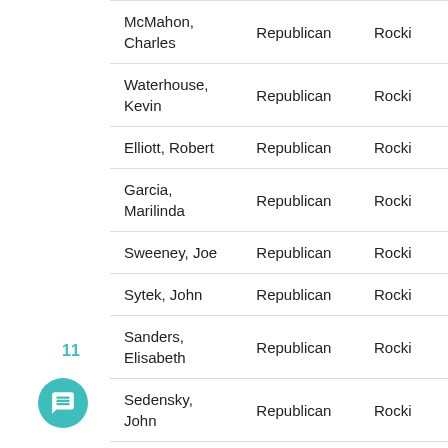| Name | Party | Location |
| --- | --- | --- |
| McMahon, Charles | Republican | Rocki |
| Waterhouse, Kevin | Republican | Rocki |
| Elliott, Robert | Republican | Rocki |
| Garcia, Marilinda | Republican | Rocki |
| Sweeney, Joe | Republican | Rocki |
| Sytek, John | Republican | Rocki |
| Sanders, Elisabeth | Republican | Rocki |
| Sedensky, John | Republican | Rocki |
| St.James, Kevin | Republican | Rocki |